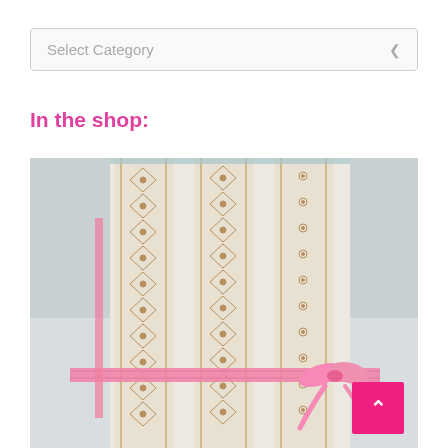Select Category
In the shop:
[Figure (photo): A decorative notebook or journal with cream and gold ornamental patterned fabric cover, tied with a pink satin ribbon, laid against a light grey/blue background.]